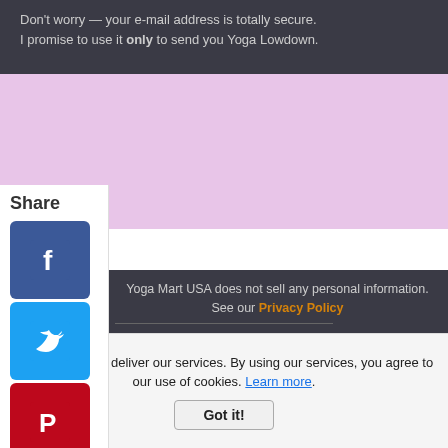Don't worry — your e-mail address is totally secure. I promise to use it only to send you Yoga Lowdown.
Yoga Mart USA does not sell any personal information. See our Privacy Policy
Yoga Mart USA ~ 2201 Tucker St, Suite 101 ~ Dallas, Texas ~ 75214 ~ (214)-238-2433
1996-2022 ~ YogaMartUSA.com ~ Site Map ~ All Rights Reserved ~ Privacy Policy
Cookies help us deliver our services. By using our services, you agree to our use of cookies. Learn more. Got it!